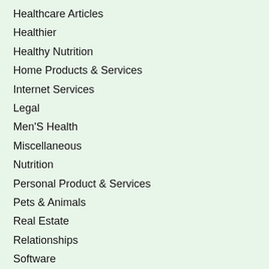Healthcare Articles
Healthier
Healthy Nutrition
Home Products & Services
Internet Services
Legal
Men'S Health
Miscellaneous
Nutrition
Personal Product & Services
Pets & Animals
Real Estate
Relationships
Software